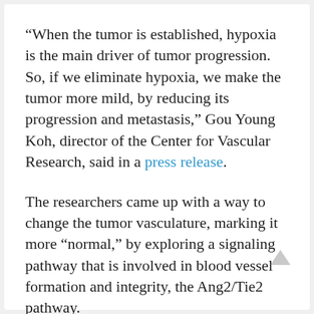“When the tumor is established, hypoxia is the main driver of tumor progression. So, if we eliminate hypoxia, we make the tumor more mild, by reducing its progression and metastasis,” Gou Young Koh, director of the Center for Vascular Research, said in a press release.
The researchers came up with a way to change the tumor vasculature, marking it more “normal,” by exploring a signaling pathway that is involved in blood vessel formation and integrity, the Ang2/Tie2 pathway.